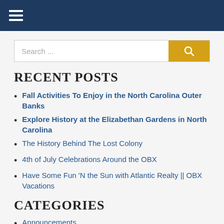Navigation bar with hamburger menu
Search ...
RECENT POSTS
Fall Activities To Enjoy in the North Carolina Outer Banks
Explore History at the Elizabethan Gardens in North Carolina
The History Behind The Lost Colony
4th of July Celebrations Around the OBX
Have Some Fun 'N the Sun with Atlantic Realty || OBX Vacations
CATEGORIES
Announcements
Events